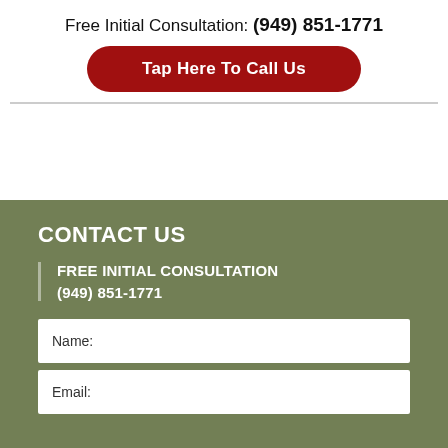Free Initial Consultation: (949) 851-1771
Tap Here To Call Us
CONTACT US
FREE INITIAL CONSULTATION
(949) 851-1771
Name:
Email: